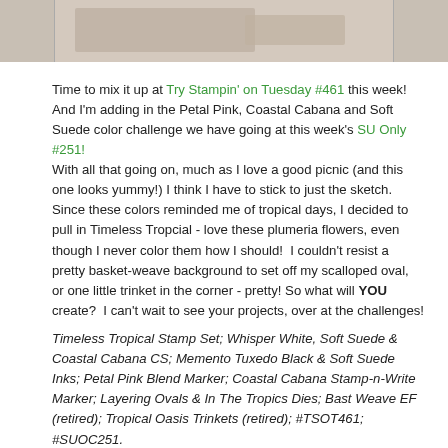[Figure (photo): Partial view of a craft/stamp project photo at the top of the page, showing a card on a wooden surface with floral stamping]
Time to mix it up at Try Stampin' on Tuesday #461 this week! And I'm adding in the Petal Pink, Coastal Cabana and Soft Suede color challenge we have going at this week's SU Only #251!
With all that going on, much as I love a good picnic (and this one looks yummy!) I think I have to stick to just the sketch.  Since these colors reminded me of tropical days, I decided to pull in Timeless Tropcial - love these plumeria flowers, even though I never color them how I should!  I couldn't resist a pretty basket-weave background to set off my scalloped oval, or one little trinket in the corner - pretty! So what will YOU create?  I can't wait to see your projects, over at the challenges!
Timeless Tropical Stamp Set; Whisper White, Soft Suede & Coastal Cabana CS; Memento Tuxedo Black & Soft Suede Inks; Petal Pink Blend Marker; Coastal Cabana Stamp-n-Write Marker; Layering Ovals & In The Tropics Dies; Bast Weave EF (retired); Tropical Oasis Trinkets (retired); #TSOT461; #SUOC251.